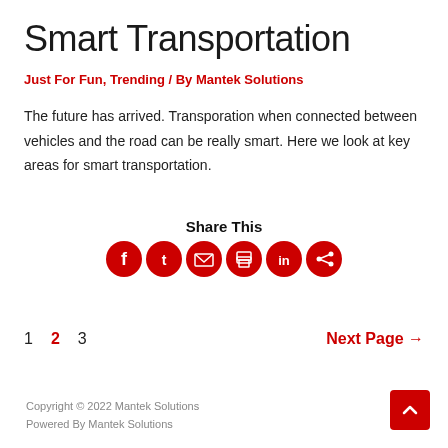Smart Transportation
Just For Fun, Trending / By Mantek Solutions
The future has arrived. Transporation when connected between vehicles and the road can be really smart. Here we look at key areas for smart transportation.
[Figure (infographic): Share This section with social media icons: Facebook, Twitter, Email, Print, LinkedIn, Share]
1  2  3  Next Page →
Copyright © 2022 Mantek Solutions
Powered By Mantek Solutions